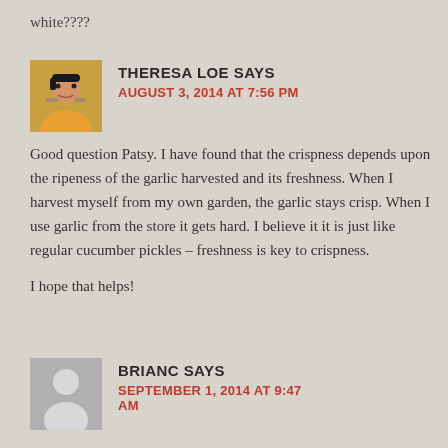white????
THERESA LOE SAYS
AUGUST 3, 2014 AT 7:56 PM
Good question Patsy. I have found that the crispness depends upon the ripeness of the garlic harvested and its freshness. When I harvest myself from my own garden, the garlic stays crisp. When I use garlic from the store it gets hard. I believe it it is just like regular cucumber pickles – freshness is key to crispness.

I hope that helps!
BRIANC SAYS
SEPTEMBER 1, 2014 AT 9:47 AM